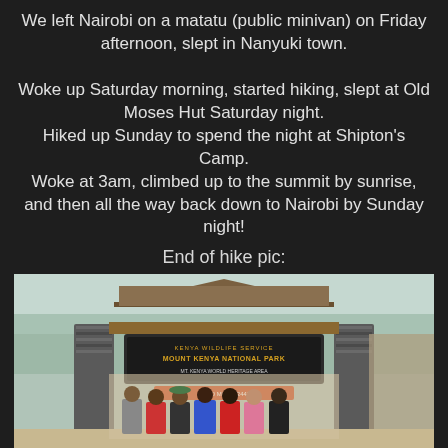We left Nairobi on a matatu (public minivan) on Friday afternoon, slept in Nanyuki town.

Woke up Saturday morning, started hiking, slept at Old Moses Hut Saturday night.
Hiked up Sunday to spend the night at Shipton's Camp.
Woke at 3am, climbed up to the summit by sunrise, and then all the way back down to Nairobi by Sunday night!
End of hike pic:
[Figure (photo): Group photo of hikers standing in front of the Mount Kenya National Park entrance, a wooden lodge-style structure with a sign reading KENYA WILDLIFE SERVICE MOUNT KENYA NATIONAL PARK. Several people pose together in colorful outdoor clothing.]